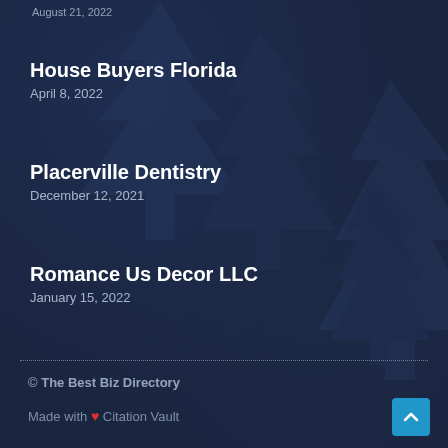August 21, 2022
House Buyers Florida
April 8, 2022
Placerville Dentistry
December 12, 2021
Romance Us Decor LLC
January 15, 2022
© The Best Biz Directory
Made with ❤ Citation Vault